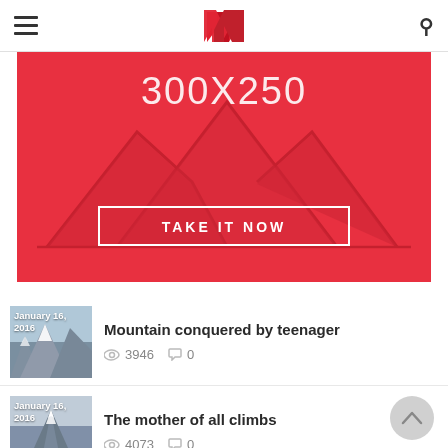Navigation header with hamburger menu, logo, and search icon
[Figure (illustration): Red advertisement banner showing mountain outline silhouettes with text '300X250' and a 'TAKE IT NOW' button]
[Figure (photo): Mountain snow photo thumbnail dated January 16, 2016]
Mountain conquered by teenager
3946  0
[Figure (photo): Mountain peak photo thumbnail dated January 16, 2016]
The mother of all climbs
4073  0